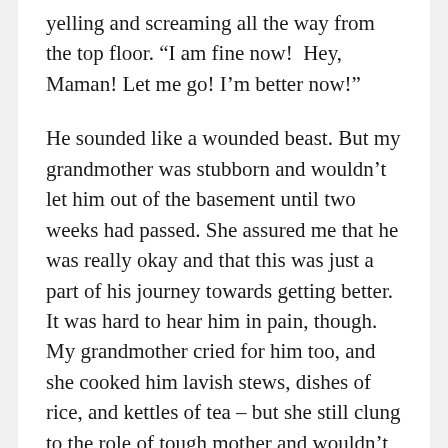yelling and screaming all the way from the top floor. “I am fine now!  Hey, Maman! Let me go! I’m better now!”
He sounded like a wounded beast. But my grandmother was stubborn and wouldn’t let him out of the basement until two weeks had passed. She assured me that he was really okay and that this was just a part of his journey towards getting better. It was hard to hear him in pain, though. My grandmother cried for him too, and she cooked him lavish stews, dishes of rice, and kettles of tea – but she still clung to the role of tough mother and wouldn’t let him free. There was a small window in the door that led to the basement, and it was only through that that we were able to safely give